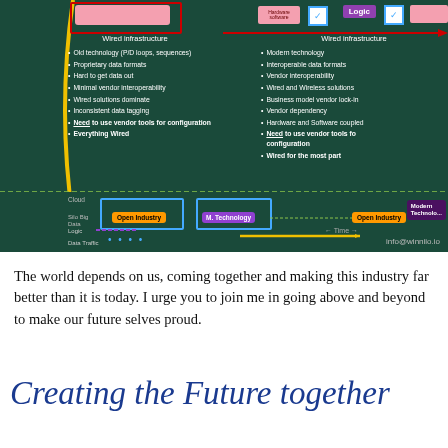[Figure (infographic): Industrial automation technology comparison diagram showing 'Wired infrastructure' on left and right columns with bullet points listing old vs modern technology characteristics. Bottom timeline shows Cloud, Silo Big Data layers with Open Industry, M. Technology, Modern Technology labels. Logic and Data Traffic legend at bottom. info@winniio.io attribution.]
The world depends on us, coming together and making this industry far better than it is today. I urge you to join me in going above and beyond to make our future selves proud.
Creating the Future together